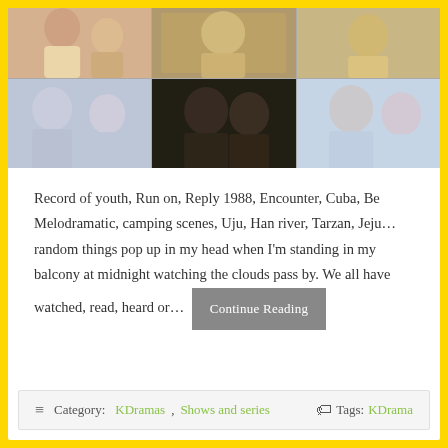[Figure (photo): A collage of 6 photos from Korean dramas arranged in a 3x2 grid, showing various actors and scenes from shows like Record of Youth, Run on, Reply 1988, Encounter, etc.]
Record of youth, Run on, Reply 1988, Encounter, Cuba, Be Melodramatic, camping scenes, Uju, Han river, Tarzan, Jeju… random things pop up in my head when I'm standing in my balcony at midnight watching the clouds pass by. We all have watched, read, heard or…
Continue Reading
Category: KDramas, Shows and series  Tags: KDrama